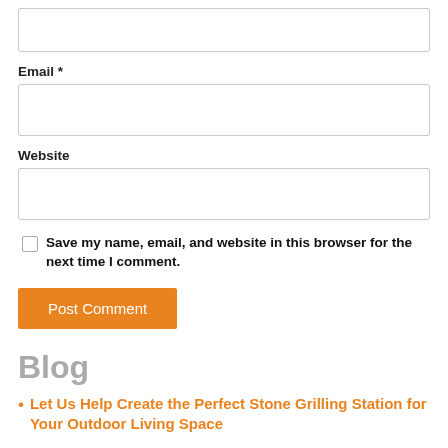(input box — top, partial)
Email *
Website
Save my name, email, and website in this browser for the next time I comment.
Post Comment
Blog
Let Us Help Create the Perfect Stone Grilling Station for Your Outdoor Living Space